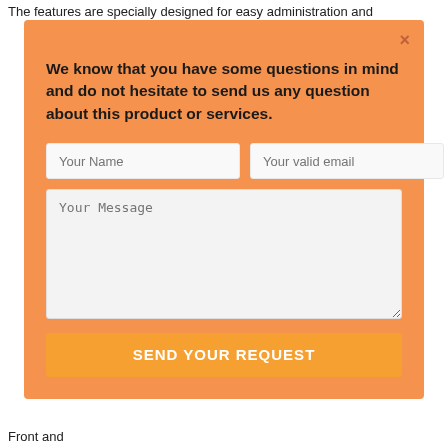The features are specially designed for easy administration and
[Figure (screenshot): A modal dialog/popup with an orange background color (#f5934e). It contains a bold message text, two input fields (Your Name, Your valid email), a large textarea (Your Message), and a send button labeled SEND YOUR REQUEST. A close (×) button is in the top right corner.]
Front and